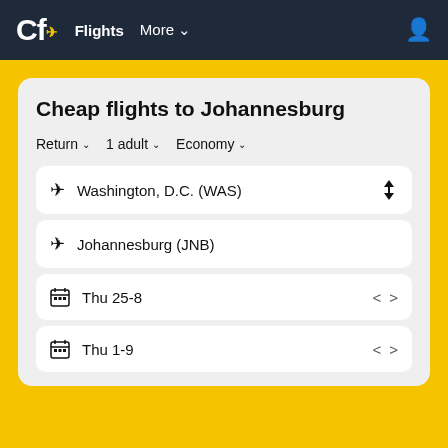Cf Flights More
Cheap flights to Johannesburg
Return   1 adult   Economy
Washington, D.C. (WAS)
Johannesburg (JNB)
Thu 25-8
Thu 1-9